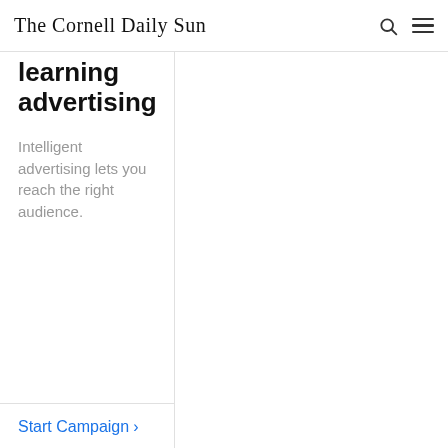The Cornell Daily Sun
learning advertising
Intelligent advertising lets you reach the right audience.
Start Campaign >